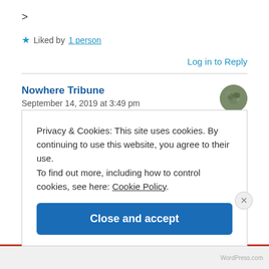>
★ Liked by 1 person
Log in to Reply
Nowhere Tribune
September 14, 2019 at 3:49 pm
Privacy & Cookies: This site uses cookies. By continuing to use this website, you agree to their use. To find out more, including how to control cookies, see here: Cookie Policy
Close and accept